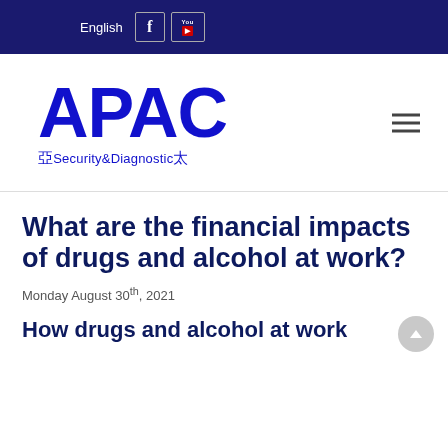English
[Figure (logo): APAC Security & Diagnostic logo with Chinese characters 亞 and 太 flanking the text]
What are the financial impacts of drugs and alcohol at work?
Monday August 30th, 2021
How drugs and alcohol at work